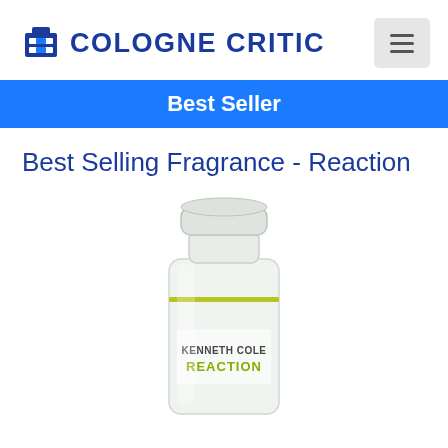COLOGNE CRITIC
Best Seller
Best Selling Fragrance - Reaction
[Figure (photo): Kenneth Cole Reaction cologne bottle — clear glass bottle with white cap and yellow-green REACTION label text]